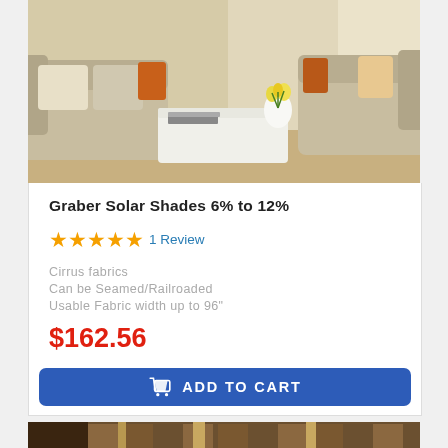[Figure (photo): Living room scene with beige sofas, white coffee table, and flower arrangement near a bright window]
Graber Solar Shades 6% to 12%
★★★★★ 1 Review
Cirrus fabrics
Can be Seamed/Railroaded
Usable Fabric width up to 96"
$162.56
retail : $254   (36% OFF)
ADD TO CART
[Figure (photo): Room with dark brown curtains and window treatment display]